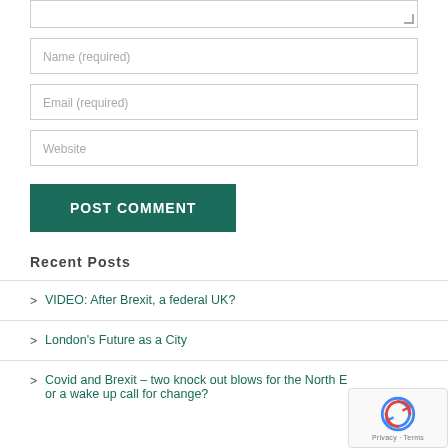[Figure (screenshot): Textarea input box (partially visible at top) with resize handle in bottom-right corner]
Name (required)
Email (required)
Website
POST COMMENT
Recent Posts
VIDEO: After Brexit, a federal UK?
London's Future as a City
Covid and Brexit – two knock out blows for the North East, or a wake up call for change?